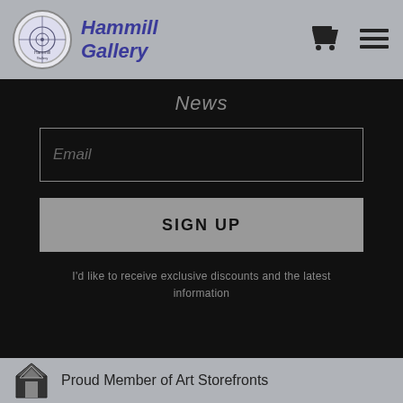Hammill Gallery
News
Email
SIGN UP
I'd like to receive exclusive discounts and the latest information
Proud Member of Art Storefronts